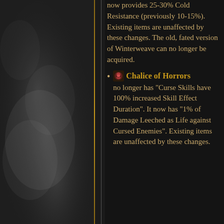[Figure (illustration): Dark smoky background panel on the left side of the page]
now provides 25-30% Cold Resistance (previously 10-15%). Existing items are unaffected by these changes. The old, fated version of Winterweave can no longer be acquired.
Chalice of Horrors no longer has "Curse Skills have 100% increased Skill Effect Duration". It now has "1% of Damage Leeched as Life against Cursed Enemies". Existing items are unaffected by these changes.